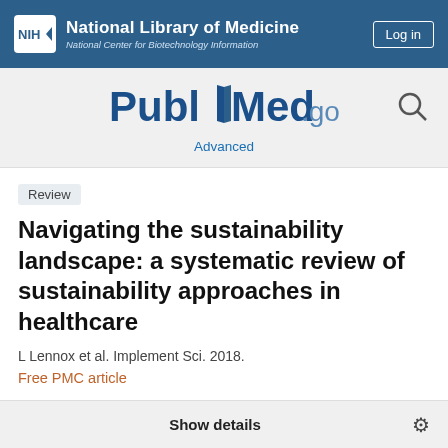NIH National Library of Medicine National Center for Biotechnology Information
[Figure (logo): PubMed.gov logo with search icon and Advanced link]
Review
Navigating the sustainability landscape: a systematic review of sustainability approaches in healthcare
L Lennox et al. Implement Sci. 2018.
Free PMC article
Show details